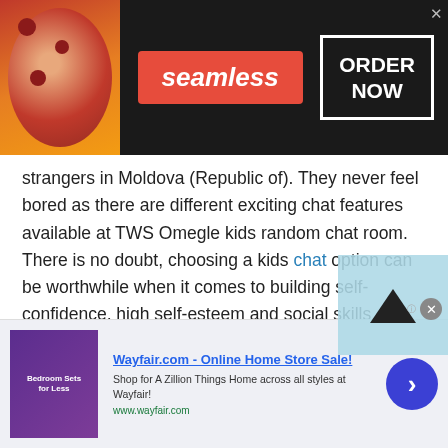[Figure (other): Seamless food delivery advertisement banner with pizza image on left, red Seamless logo in center, and ORDER NOW box on right with dark background]
strangers in Moldova (Republic of). They never feel bored as there are different exciting chat features available at TWS Omegle kids random chat room. There is no doubt, choosing a kids chat option can be worthwhile when it comes to building self-confidence, high self-esteem and social skills.

TWS Omegle kids option gives your kids a great chance to meet new friends online from different countries. Once kids start talking to strangers online they can not only meet their knowledge horizons also
[Figure (other): Wayfair.com Online Home Store Sale advertisement with purple bedroom image on left, ad text in center, and blue arrow button on right]